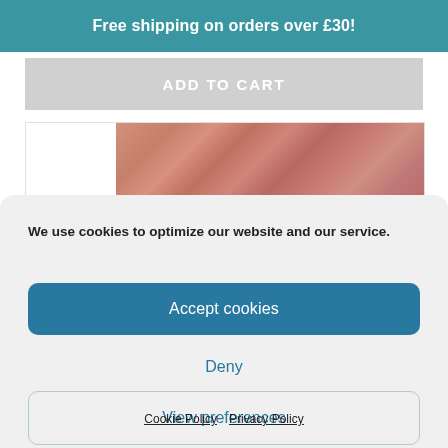Free shipping on orders over £30!
ADD TO CART
[Figure (photo): Close-up photo of a pinkish-rose powder cosmetic product texture]
We use cookies to optimize our website and our service.
Accept cookies
Deny
View preferences
Cookie Policy  Privacy Policy